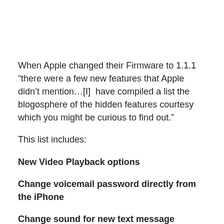When Apple changed their Firmware to 1.1.1 “there were a few new features that Apple didn’t mention…[I]  have compiled a list the blogosphere of the hidden features courtesy which you might be curious to find out.”
This list includes:
New Video Playback options
Change voicemail password directly from the iPhone
Change sound for new text message
iPhone Safari’s “Debug console”